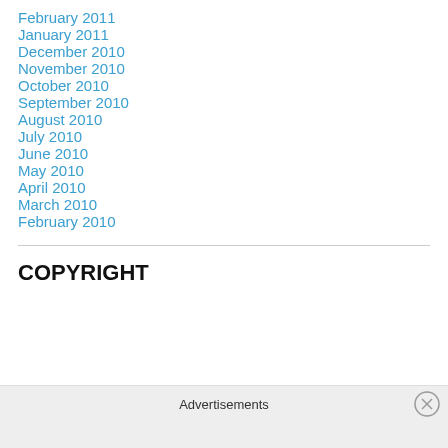February 2011
January 2011
December 2010
November 2010
October 2010
September 2010
August 2010
July 2010
June 2010
May 2010
April 2010
March 2010
February 2010
COPYRIGHT
Advertisements
REPORT THIS AD